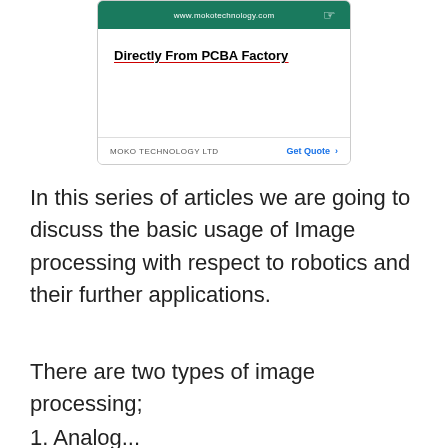[Figure (screenshot): Advertisement banner for MOKO TECHNOLOGY LTD showing 'Directly From PCBA Factory' with a green header bar showing www.mokotechnology.com and a Get Quote button]
In this series of articles we are going to discuss the basic usage of Image processing with respect to robotics and their further applications.
There are two types of image processing;
1. Analog...